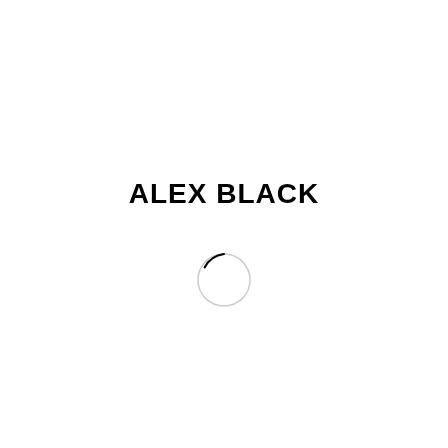ALEX BLACK
[Figure (illustration): A small open circle (ring) graphic, mostly white interior with a thin gray/black outline, with a small black filled arc segment at the top-left of the circle, resembling a loading spinner or logo mark.]